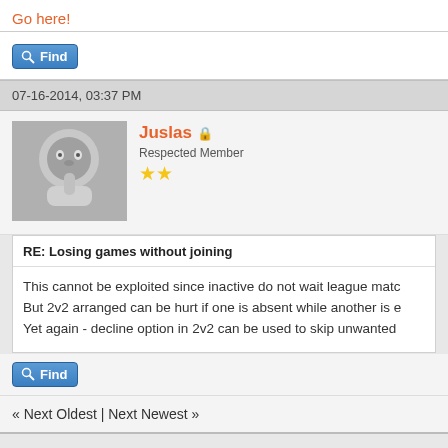Go here!
[Figure (other): Find button with magnifying glass icon]
07-16-2014, 03:37 PM
[Figure (photo): User avatar image showing a grayscale cartoon/photo with a hand gesture]
Juslas - Respected Member, 2 stars
RE: Losing games without joining
This cannot be exploited since inactive do not wait league matc... But 2v2 arranged can be hurt if one is absent while another is e... Yet again - decline option in 2v2 can be used to skip unwanted...
[Figure (other): Find button with magnifying glass icon]
« Next Oldest | Next Newest »